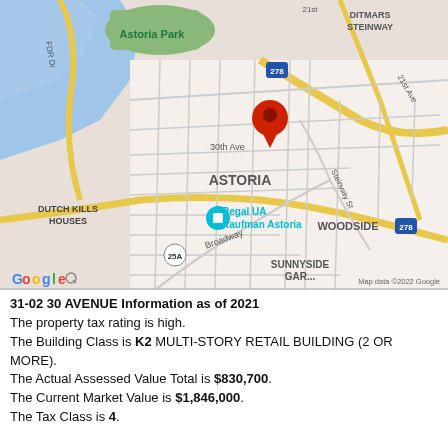[Figure (map): Google Maps screenshot showing Astoria, Queens, New York area with a red location pin near 30th Avenue. Visible neighborhoods include Astoria, Dutch Kills/Houses, Woodside, Sunnyside Gardens, and Ditmars Steinway. Notable landmarks shown include Astoria Park, Regal UA Kaufman Astoria cinema. Major roads including I-278 are visible. Map data copyright 2022 Google.]
31-02 30 AVENUE Information as of 2021
The property tax rating is high.
The Building Class is K2 MULTI-STORY RETAIL BUILDING (2 OR MORE).
The Actual Assessed Value Total is $830,700.
The Current Market Value is $1,846,000.
The Tax Class is 4.